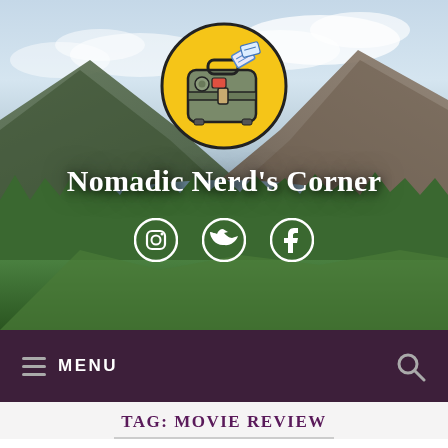[Figure (photo): Scottish Highland landscape with mountains, loch/lake, and green fields under cloudy sky, serving as website hero banner background]
[Figure (logo): Circular yellow logo with cartoon travel suitcase/luggage with passport tickets, for Nomadic Nerd's Corner website]
Nomadic Nerd's Corner
[Figure (infographic): Three white social media icons: Instagram, Twitter/X, and Facebook]
≡ MENU
TAG: MOVIE REVIEW